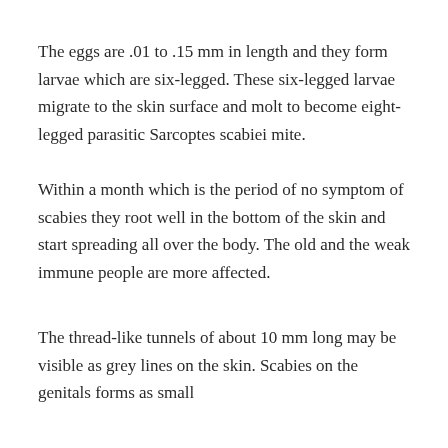The eggs are .01 to .15 mm in length and they form larvae which are six-legged. These six-legged larvae migrate to the skin surface and molt to become eight-legged parasitic Sarcoptes scabiei mite.
Within a month which is the period of no symptom of scabies they root well in the bottom of the skin and start spreading all over the body. The old and the weak immune people are more affected.
The thread-like tunnels of about 10 mm long may be visible as grey lines on the skin. Scabies on the genitals forms as small